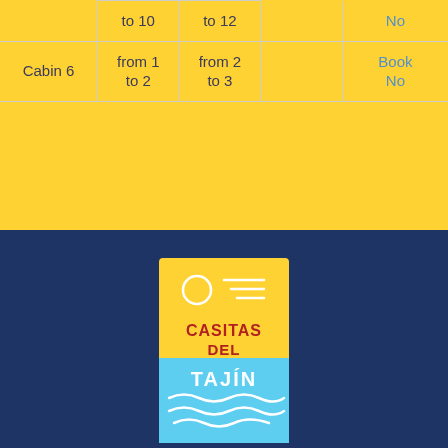|  | to 10 | to 12 |  | No... |
| Cabin 6 | from 1
to 2 | from 2
to 3 |  | Book
No... |
[Figure (logo): Casitas del Tajin logo: yellow and light blue card with sun circle, wave lines, text CASITAS DEL TAJIN]